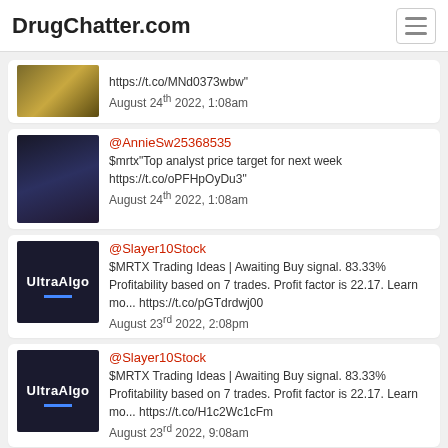DrugChatter.com
https://t.co/MNd0373wbw"
August 24th 2022, 1:08am
@AnnieSw25368535
$mrtx"Top analyst price target for next week https://t.co/oPFHpOyDu3"
August 24th 2022, 1:08am
@Slayer10Stock
$MRTX Trading Ideas | Awaiting Buy signal. 83.33% Profitability based on 7 trades. Profit factor is 22.17. Learn mo... https://t.co/pGTdrdwj00
August 23rd 2022, 2:08pm
@Slayer10Stock
$MRTX Trading Ideas | Awaiting Buy signal. 83.33% Profitability based on 7 trades. Profit factor is 22.17. Learn mo... https://t.co/H1c2Wc1cFm
August 23rd 2022, 9:08am